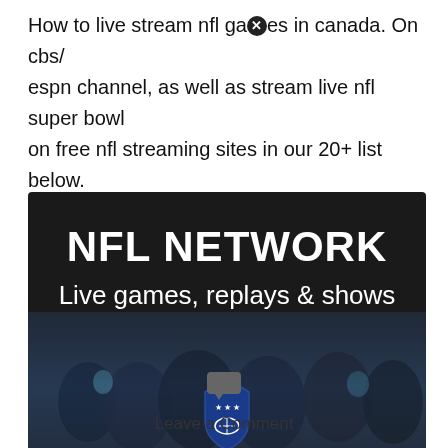How to live stream nfl games in canada. On cbs/espn channel, as well as stream live nfl super bowl on free nfl streaming sites in our 20+ list below.
[Figure (screenshot): NFL Network promotional image with dark background showing 'NFL NETWORK' in large bold white text, subtitle 'Live games, replays & shows', and a phone screen showing a football game crowd with NFL shield logo at bottom]
Leave a Comment